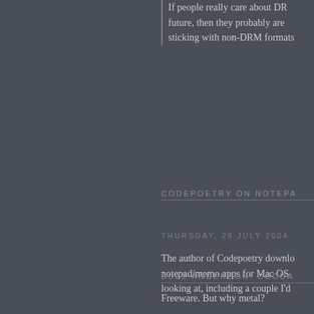If people really care about DRM and the future, then they probably are better off sticking with non-DRM formats.
CODEPOETRY ON NOTEPA…
The author of Codepoetry downloaded notepad/memo apps for Mac OS … looking at, including a couple I'd…
THURSDAY, 29 JULY 2004
BUZZ ANDERSON: COCOA…
Freeware. But why metal?